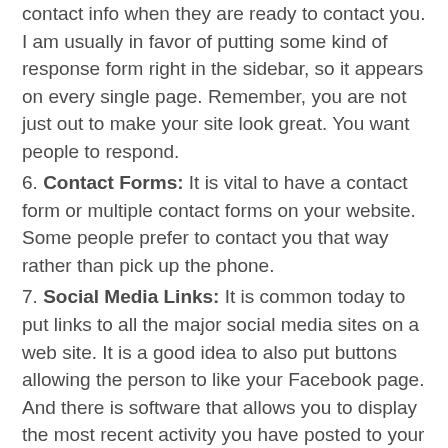contact info when they are ready to contact you. I am usually in favor of putting some kind of response form right in the sidebar, so it appears on every single page. Remember, you are not just out to make your site look great. You want people to respond.
6. Contact Forms: It is vital to have a contact form or multiple contact forms on your website. Some people prefer to contact you that way rather than pick up the phone.
7. Social Media Links: It is common today to put links to all the major social media sites on a web site. It is a good idea to also put buttons allowing the person to like your Facebook page. And there is software that allows you to display the most recent activity you have posted to your Facebook page or to Twitter.
8. Personalization: One mistake I see a LOT